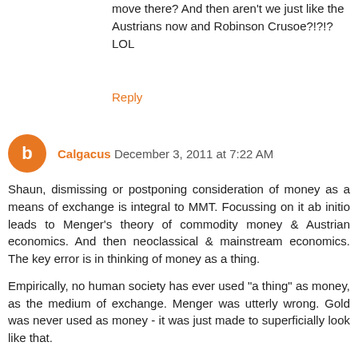move there? And then aren't we just like the Austrians now and Robinson Crusoe?!?!? LOL
Reply
Calgacus December 3, 2011 at 7:22 AM
Shaun, dismissing or postponing consideration of money as a means of exchange is integral to MMT. Focussing on it ab initio leads to Menger's theory of commodity money & Austrian economics. And then neoclassical & mainstream economics. The key error is in thinking of money as a thing.
Empirically, no human society has ever used "a thing" as money, as the medium of exchange. Menger was utterly wrong. Gold was never used as money - it was just made to superficially look like that.
What has always been used is credit/debt relationships, which BECAME the medium of exchange, became money by becoming transferable. The moneyness of a money, its place in the hierarchy of money depends on the wideness